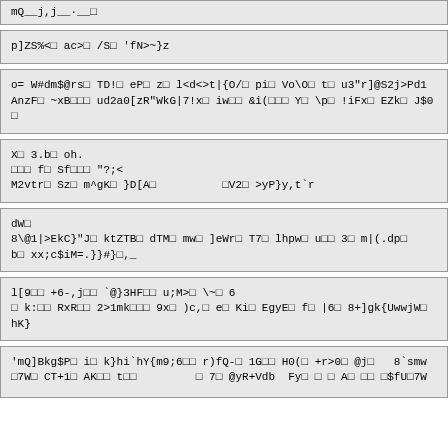mQ__j,j__·__π
p]ZS%<□ ac>□ /S□ 'fN>~}z
o= W#dm$@rs□ TD!□ eP□ z□ l<d<>t|{O/□ pi□ Vo\O□ t□ u3"r]@S2j>Pd1
AnzF□ ~xB□□□ ud2a0[zR"WkG|7!x□ iw□□ &i(□□□ Y□ \p□ !iFx□ EZk□ J$0}
X□ 3.b□ oh.
□□□ f□ Sf□□□ "?;<
M2vtr□ Sz□ m^gK□ }D[A□          □V2□ >yP}y,t`r
dW□
8\@1|>EkC}"J□ ktZTB□ dTM□ mw□ ]eWr□ T7□ lhpw□ u□□ 3□ m|(.dp□
b□ xx;c$iM=.}}#}□,_
l[9□□ +6-,j□□ `@}3HF□□ u;M>□ \~□ 6
□ k:□□ RxR□□ 2>1mk□□□ 9x□ )c,□ e□ Ki□ EgyE□ f□ |6□ 8+]gk{UwwjW□ hK}
'mQ]Bkg$P□ i□ k}hi`hY{m9;6□□ r)fQ-□ 1G□□ H0(□ +r>0□ @j□   8`smw
□7W□ CT+1□ AK□□ t□□         □ 7□ @yR+Vdb  Fy□ □ □ A□ □□ □$fU□7W